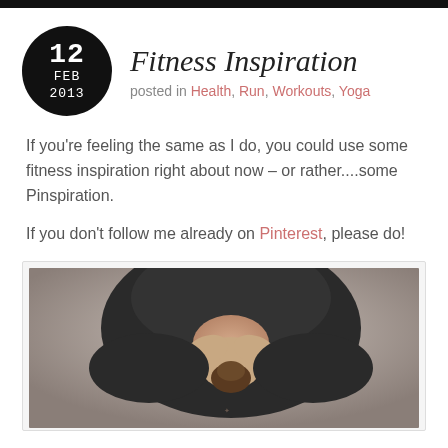Fitness Inspiration
posted in Health, Run, Workouts, Yoga
If you’re feeling the same as I do, you could use some fitness inspiration right about now – or rather....some Pinspiration.
If you don’t follow me already on Pinterest, please do!
[Figure (photo): Person bending forward in a yoga pose, viewed from above, wearing dark clothing, hair in a bun, against a neutral grey background.]